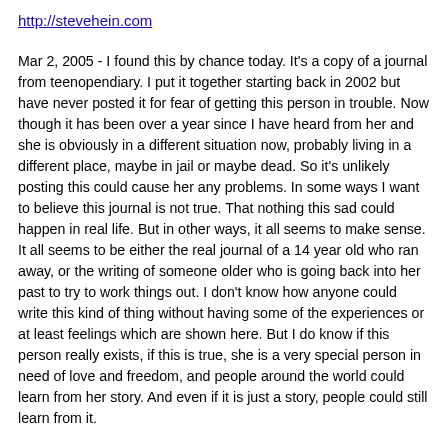http://stevehein.com
Mar 2, 2005 - I found this by chance today. It's a copy of a journal from teenopendiary. I put it together starting back in 2002 but have never posted it for fear of getting this person in trouble. Now though it has been over a year since I have heard from her and she is obviously in a different situation now, probably living in a different place, maybe in jail or maybe dead. So it's unlikely posting this could cause her any problems. In some ways I want to believe this journal is not true. That nothing this sad could happen in real life. But in other ways, it all seems to make sense. It all seems to be either the real journal of a 14 year old who ran away, or the writing of someone older who is going back into her past to try to work things out. I don't know how anyone could write this kind of thing without having some of the experiences or at least feelings which are shown here. But I do know if this person really exists, if this is true, she is a very special person in need of love and freedom, and people around the world could learn from her story. And even if it is just a story, people could still learn from it.
If anyone has any idea who this person is or where she is or what happened to her, please let me know.